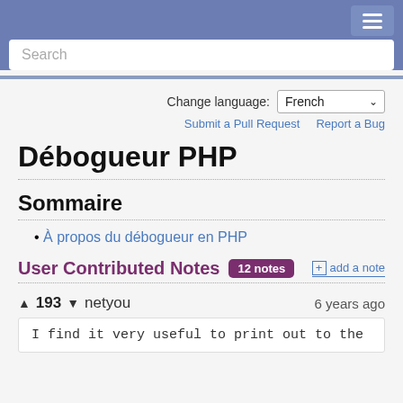Search
Change language: French
Submit a Pull Request   Report a Bug
Débogueur PHP
Sommaire
À propos du débogueur en PHP
User Contributed Notes  12 notes  + add a note
▲ 193 ▼  netyou   6 years ago
I find it very useful to print out to the